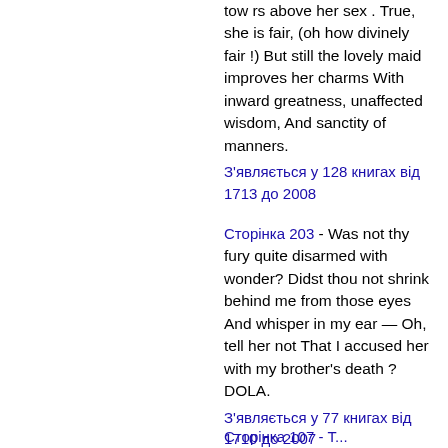tow rs above her sex . True, she is fair, (oh how divinely fair !) But still the lovely maid improves her charms With inward greatness, unaffected wisdom, And sanctity of manners.
З'являється у 128 книгах від 1713 до 2008
Сторінка 203 - Was not thy fury quite disarmed with wonder? Didst thou not shrink behind me from those eyes And whisper in my ear — Oh, tell her not That I accused her with my brother's death ? DOLA.
З'являється у 77 книгах від 1710 до 2007
Сторінка 107 - Т...